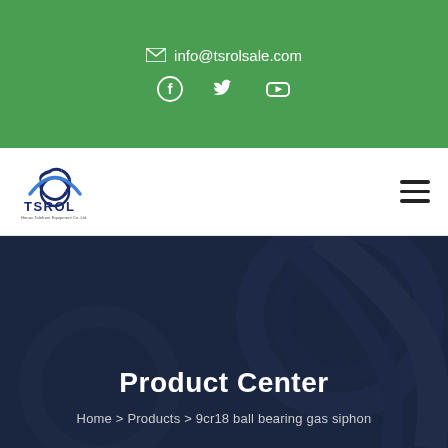✉ info@tsrolsale.com
[Figure (logo): TSROL company logo with gear icon and text 'Henan Talefront Equipment Co. Ltd']
Product Center
Home > Products > 9cr18 ball bearing gas siphon